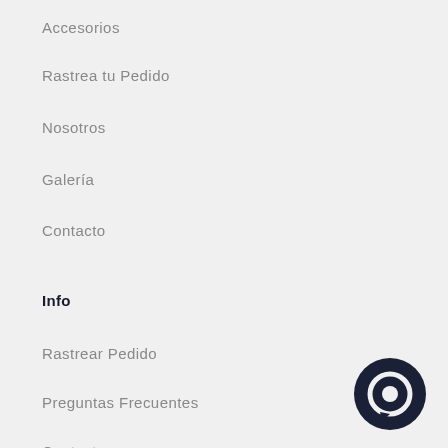Accesorios
Rastrea tu Pedido
Nosotros
Galería
Contacto
Info
Rastrear Pedido
Preguntas Frecuentes
Contacto
[Figure (illustration): Chat bubble icon in dark navy color, bottom right corner]